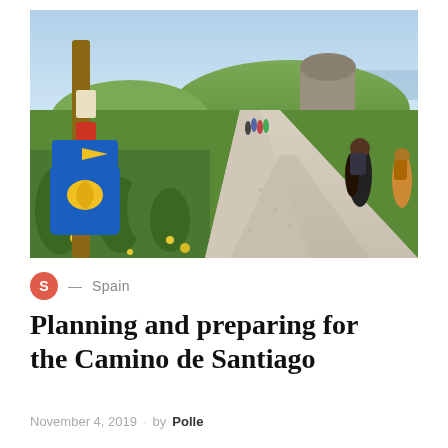[Figure (photo): Pilgrims walking along a gravel path on the Camino de Santiago. A wooden post with a blue waymarker sign showing a yellow scallop shell and arrow is in the foreground left. Green rolling hills, wildflowers, and a large rock formation near the coast are visible in the background.]
S — Spain
Planning and preparing for the Camino de Santiago
November 4, 2019 · by Polle